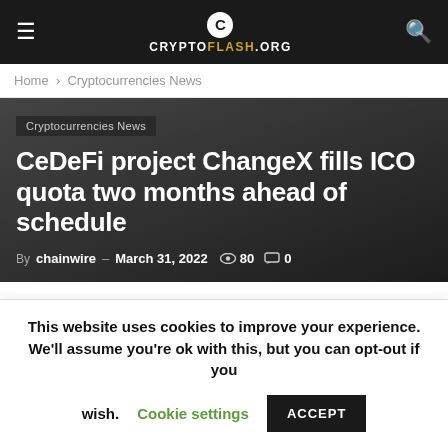CRYPTOFLASH.ORG
Home › Cryptocurrencies News
Cryptocurrencies News
CeDeFi project ChangeX fills ICO quota two months ahead of schedule
By chainwire – March 31, 2022  80  0
This website uses cookies to improve your experience. We'll assume you're ok with this, but you can opt-out if you wish. Cookie settings ACCEPT